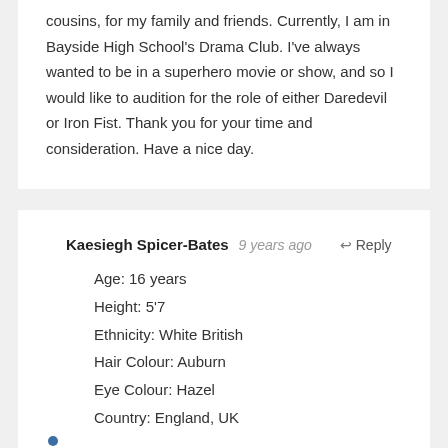cousins, for my family and friends. Currently, I am in Bayside High School's Drama Club. I've always wanted to be in a superhero movie or show, and so I would like to audition for the role of either Daredevil or Iron Fist. Thank you for your time and consideration. Have a nice day.
Kaesiegh Spicer-Bates  9 years ago  Reply
Age: 16 years
Height: 5'7
Ethnicity: White British
Hair Colour: Auburn
Eye Colour: Hazel
Country: England, UK
Hi, I'm Kaesiegh and I have been looking for a chance to